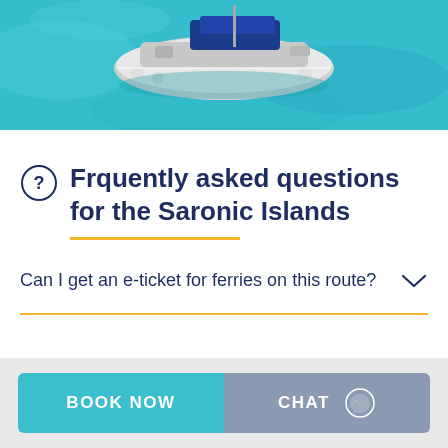[Figure (photo): Aerial view of a sailboat on turquoise blue water, top portion of image visible]
Frquently asked questions for the Saronic Islands
Can I get an e-ticket for ferries on this route?